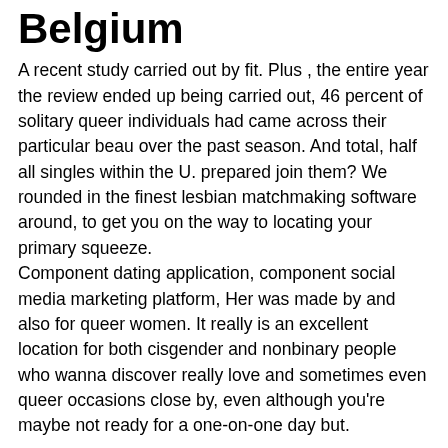Belgium
A recent study carried out by fit. Plus , the entire year the review ended up being carried out, 46 percent of solitary queer individuals had came across their particular beau over the past season. And total, half all singles within the U. prepared join them? We rounded in the finest lesbian matchmaking software around, to get you on the way to locating your primary squeeze.
Component dating application, component social media marketing platform, Her was made by and also for queer women. It really is an excellent location for both cisgender and nonbinary people who wanna discover really love and sometimes even queer occasions close by, even although you're maybe not ready for a one-on-one day but.
Most from Sex & Interactions